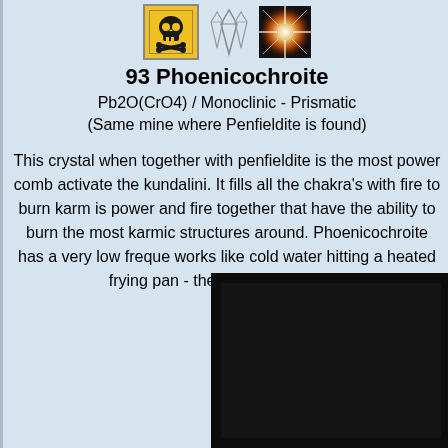[Figure (illustration): Row of three icons: skull and crossbones on yellow background, crystal/gem line drawing, colorful explosion/starburst photo]
93 Phoenicochroite
Pb2O(CrO4) / Monoclinic - Prismatic
(Same mine where Penfieldite is found)
This crystal when together with penfieldite is the most power comb activate the kundalini. It fills all the chakra's with fire to burn karm is power and fire together that have the ability to burn the most karmic structures around. Phoenicochroite has a very low freque works like cold water hitting a heated frying pan - the combina firework.
[Figure (photo): Dark/black photograph of the mineral Phoenicochroite]